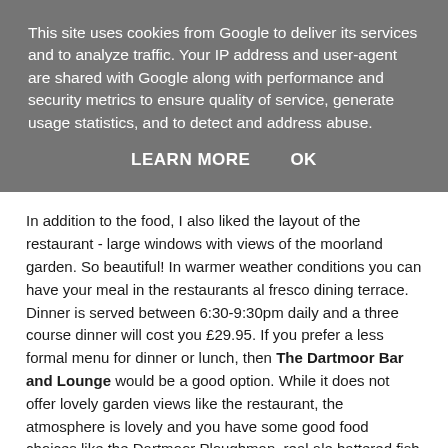This site uses cookies from Google to deliver its services and to analyze traffic. Your IP address and user-agent are shared with Google along with performance and security metrics to ensure quality of service, generate usage statistics, and to detect and address abuse.
LEARN MORE   OK
In addition to the food, I also liked the layout of the restaurant - large windows with views of the moorland garden. So beautiful! In warmer weather conditions you can have your meal in the restaurants al fresco dining terrace. Dinner is served between 6:30-9:30pm daily and a three course dinner will cost you £29.95. If you prefer a less formal menu for dinner or lunch, then The Dartmoor Bar and Lounge would be a good option. While it does not offer lovely garden views like the restaurant, the atmosphere is lovely and you have some good food choices like the Dartmoor Ploughman, real ale battered fish and chips and the popular Homity Pie with sweet potato fries. The bar is open for lunch from 12:00-2:15pm and for dinner from 6:30-9:30